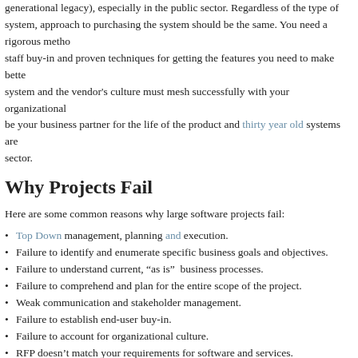generational legacy), especially in the public sector. Regardless of the type of system, approach to purchasing the system should be the same. You need a rigorous method for staff buy-in and proven techniques for getting the features you need to make better system and the vendor's culture must mesh successfully with your organizational be your business partner for the life of the product and thirty year old systems are sector.
Why Projects Fail
Here are some common reasons why large software projects fail:
Top Down management, planning and execution.
Failure to identify and enumerate specific business goals and objectives.
Failure to understand current, “as is”  business processes.
Failure to comprehend and plan for the entire scope of the project.
Weak communication and stakeholder management.
Failure to establish end-user buy-in.
Failure to account for organizational culture.
RFP doesn’t match your requirements for software and services.
Underestimating the services required to configure the product.
Underestimating or omitting training.
Failure to plan for implementation.
Insufficient or poor project and stakeholder management.